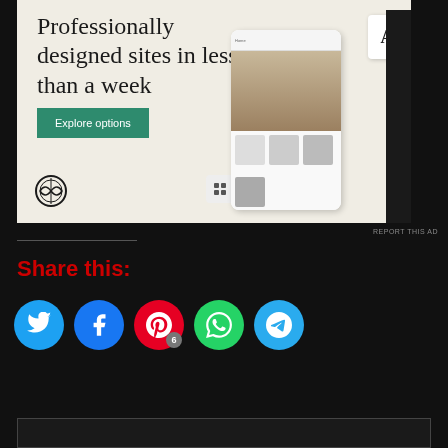[Figure (screenshot): WordPress advertisement banner with beige background. Text reads 'Professionally designed sites in less than a week' with a green 'Explore options' button, WordPress logo, and mockup screenshots of a food website on the right.]
REPORT THIS AD
Share this:
[Figure (infographic): Social media share buttons: Twitter (blue), Facebook (blue), Pinterest (red) with badge '6', WhatsApp (green), Telegram (blue)]